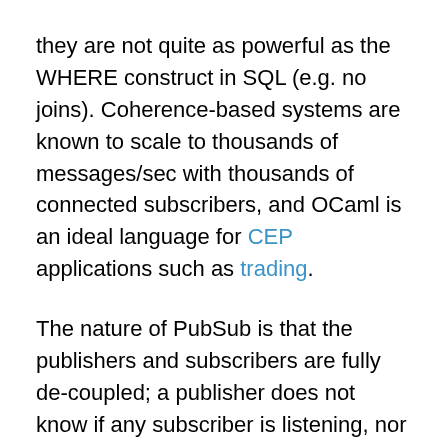they are not quite as powerful as the WHERE construct in SQL (e.g. no joins). Coherence-based systems are known to scale to thousands of messages/sec with thousands of connected subscribers, and OCaml is an ideal language for CEP applications such as trading.
The nature of PubSub is that the publishers and subscribers are fully de-coupled; a publisher does not know if any subscriber is listening, nor does a subscriber know who has sent the message. If reliable delivery or a stronger relationship or is required, then a message bus such as Oracle AQ should be used (the tradeoff being lower throughput/higher latency). An analogy is UDP vs TCP. In all cases, so long as the data can be interchanged via a common format (database column types for AQ, POF for Coherence, Apache Thrift, etc), it does not matter what